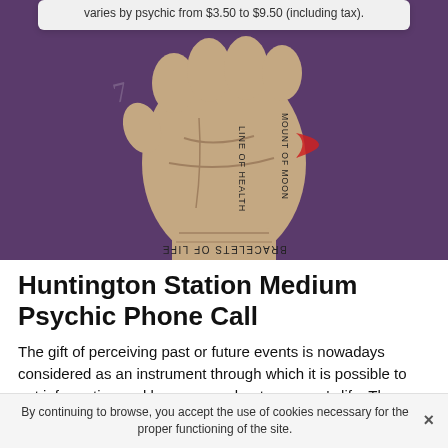varies by psychic from $3.50 to $9.50 (including tax).
[Figure (illustration): Illustration of a palm/hand with mystical text labels including 'BRACELETS OF LIFE', 'LINE OF HEALTH', 'MOUNT OF MOON', and a red crescent moon symbol, set against a purple background.]
Huntington Station Medium Psychic Phone Call
The gift of perceiving past or future events is nowadays considered as an instrument through which it is possible to get information and learn more about a person's life. Thus, clairvoyance teaches them more about their past, present and even their future in order to make them aware of
By continuing to browse, you accept the use of cookies necessary for the proper functioning of the site.